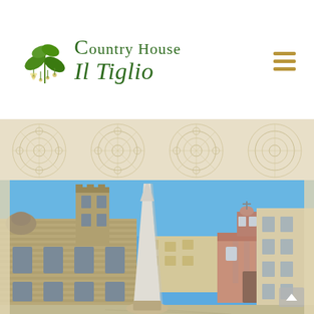[Figure (logo): Country House Il Tiglio logo with green italic text and leaf/flower illustration]
[Figure (illustration): Decorative beige mandala/medallion pattern background band]
[Figure (photo): Photograph of an Italian town square with an obelisk, stone church with bell tower, pink baroque church in background, and large classical building on right, under bright blue sky]